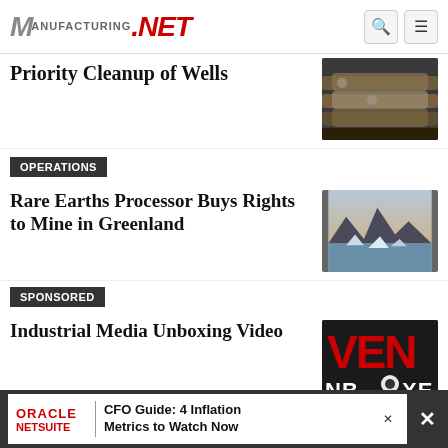ManufacturingNET
Priority Cleanup of Wells
OPERATIONS
Rare Earths Processor Buys Rights to Mine in Greenland
SPONSORED
Industrial Media Unboxing Video
ORACLE NETSUITE | CFO Guide: 4 Inflation Metrics to Watch Now